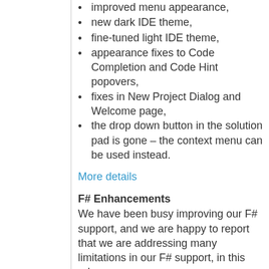improved menu appearance,
new dark IDE theme,
fine-tuned light IDE theme,
appearance fixes to Code Completion and Code Hint popovers,
fixes in New Project Dialog and Welcome page,
the drop down button in the solution pad is gone – the context menu can be used instead.
More details
F# Enhancements
We have been busy improving our F# support, and we are happy to report that we are addressing many limitations in our F# support, in this release:
Document outline pad now available for F# files.
Completion lists are now topologically sorted.
Support for F#4...